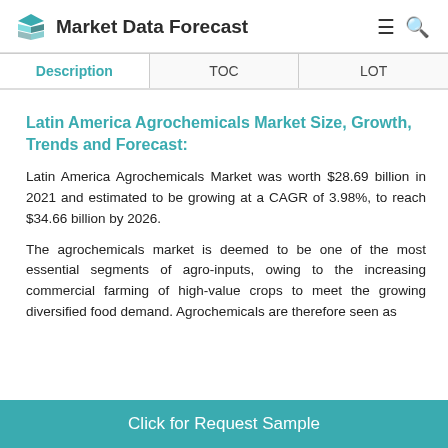Market Data Forecast
| Description | TOC | LOT |
| --- | --- | --- |
Latin America Agrochemicals Market Size, Growth, Trends and Forecast:
Latin America Agrochemicals Market was worth $28.69 billion in 2021 and estimated to be growing at a CAGR of 3.98%, to reach $34.66 billion by 2026.
The agrochemicals market is deemed to be one of the most essential segments of agro-inputs, owing to the increasing commercial farming of high-value crops to meet the growing diversified food demand. Agrochemicals are therefore seen as
Click for Request Sample